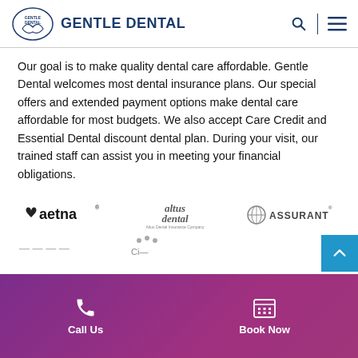GENTLE DENTAL
Our goal is to make quality dental care affordable. Gentle Dental welcomes most dental insurance plans. Our special offers and extended payment options make dental care affordable for most budgets. We also accept Care Credit and Essential Dental discount dental plan. During your visit, our trained staff can assist you in meeting your financial obligations.
[Figure (logo): Aetna logo with heart symbol]
[Figure (logo): Altus Dental - Altus Dental Insurance Company logo]
[Figure (logo): Assurant logo with globe icon]
Call Us | Book Now